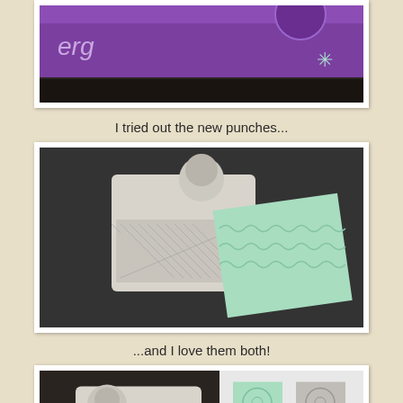[Figure (photo): Partial view of a paper punch product in purple packaging on a dark background, cropped at top]
I tried out the new punches...
[Figure (photo): A white border/edge paper punch tool with a lace diamond lattice pattern, shown punching a strip of mint green paper on a dark surface]
...and I love them both!
[Figure (photo): A white paper punch tool with a floral/daisy lace pattern, shown with punched strips of mint green and grey paper on a white surface]